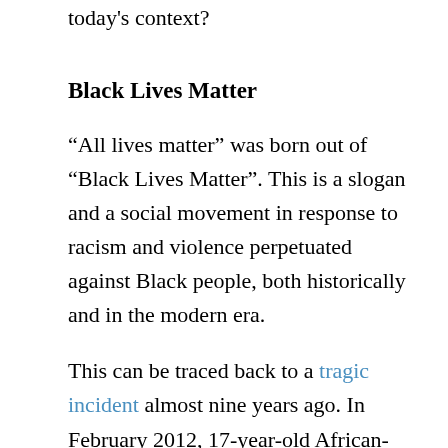today's context?
Black Lives Matter
“All lives matter” was born out of “Black Lives Matter”. This is a slogan and a social movement in response to racism and violence perpetuated against Black people, both historically and in the modern era.
This can be traced back to a tragic incident almost nine years ago. In February 2012, 17-year-old African-American Trayvon Martin was walking home in Florida, after buying Skittles at a convenience store.